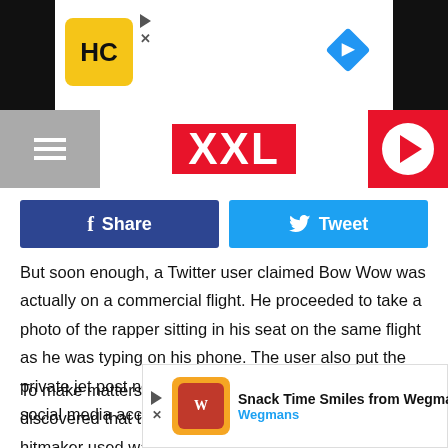[Figure (screenshot): Top advertisement bar with HC badge logo and navigation diamond icon on black side bars]
XXL
[Figure (screenshot): Facebook Share and Twitter Tweet social sharing buttons]
But soon enough, a Twitter user claimed Bow Wow was actually on a commercial flight. He proceeded to take a photo of the rapper sitting in his seat on the same flight as he was typing on his phone. The user also put the private jet post next to the photo of Bow Wow, giving social media access to roast him for the rest of the day.
To make matters even worse, one Twitter user discovered that the private jet picture the Underrated hitmaker used was appare... websit...
[Figure (screenshot): Bottom advertisement for Snack Time Smiles from Wegmans with Wegmans logo]